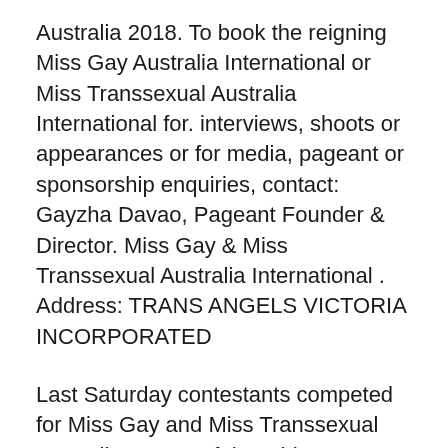Australia 2018. To book the reigning Miss Gay Australia International or Miss Transsexual Australia International for. interviews, shoots or appearances or for media, pageant or sponsorship enquiries, contact: Gayzha Davao, Pageant Founder & Director. Miss Gay & Miss Transsexual Australia International . Address: TRANS ANGELS VICTORIA INCORPORATED
Last Saturday contestants competed for Miss Gay and Miss Transsexual Australia as part of the Midsumma Festival. The Miss Gay section was for drag queens and impersonators while Miss Transexual was for those who have transitioned or are transitioning. It was